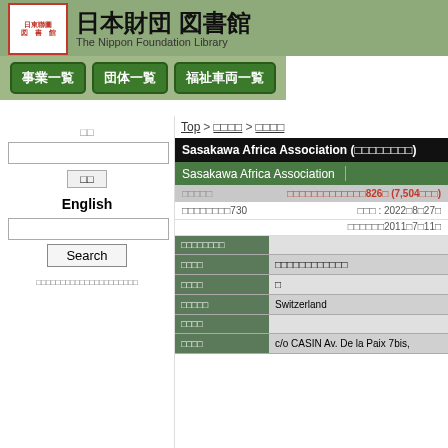日本財団 図書館 The Nippon Foundation Library
事業一覧
団体一覧
福祉車両一覧
Top > □□□□ > □□□□
Sasakawa Africa Association (□□□□□□□□)
Sasakawa Africa Association
| □□□□□ | □□□□□□□□□□□□□□826□ (7,504□□□) |
| --- | --- |
| □□□□□□□□730 | □□□ : 2022□8□27□ |
|  | □□□□□□2011□7□11□ |
| □□□□□□□□ |  |
| --- | --- |
| □□□□ | □□□□□□□□□□□□ |
| □□□□ | □ |
| □□□□□ | Switzerland |
| □□□□ |  |
| □□□□ | c/o CASIN Av. De la Paix 7bis, |
□□
English
Search
□□□□□□□□□□□□□□□□□□□□□